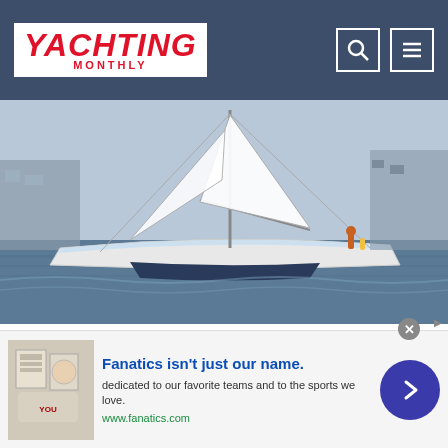Yachting Monthly
[Figure (photo): A white sailboat (Island Packet 380) underway on choppy water near a harbor, with people visible on deck and rigging.]
Island Packet 380: The best liveaboard cruiser out there? - Yachting Monthly
When it comes to liveaboard credentials, is the Island Packet 380 the cream of the crop? Rachael Sprot went t…
Yachting Monthly
[Figure (photo): Partial view of a second article image showing sandy/earthy tones with what appears to be a hat or object.]
[Figure (photo): Advertisement banner for Fanatics. Includes product image of sports merchandise, text 'Fanatics isn't just our name. dedicated to our favorite teams and to the sports we love. www.fanatics.com', and a call-to-action arrow button.]